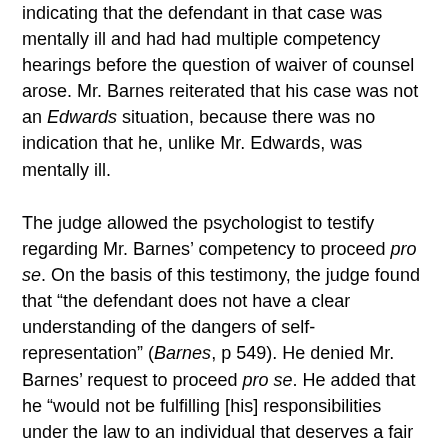indicating that the defendant in that case was mentally ill and had had multiple competency hearings before the question of waiver of counsel arose. Mr. Barnes reiterated that his case was not an Edwards situation, because there was no indication that he, unlike Mr. Edwards, was mentally ill.
The judge allowed the psychologist to testify regarding Mr. Barnes' competency to proceed pro se. On the basis of this testimony, the judge found that "the defendant does not have a clear understanding of the dangers of self-representation" (Barnes, p 549). He denied Mr. Barnes' request to proceed pro se. He added that he "would not be fulfilling [his] responsibilities under the law to an individual that deserves a fair trial" (Barnes, p 549). He added that Mr. Barnes was "prone to ramble," "prone to act extra-judicious," and acted "as if he were conducting his defense on the streets, so to speak, and as we all know, the courtroom is not the place for that kind of decorum or demeanor" (Barnes, p 549). The trial proceedings continued with the